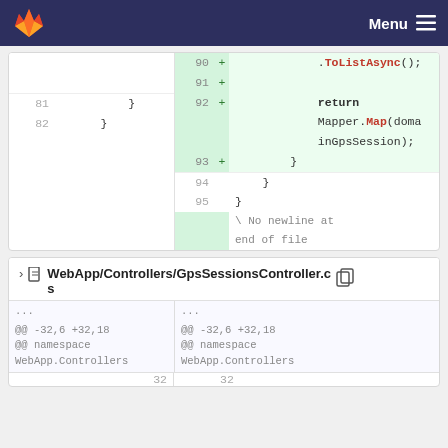GitLab — Menu
[Figure (screenshot): Code diff view showing lines 90-95 with added lines highlighted in green. Line 90: .ToListAsync(); Line 91: + (blank), Line 92: + return Mapper.Map(domainGpsSession); Line 93: + }, Line 94: }, Line 95: }. Left side shows lines 81: }, 82: }. No newline at end of file message.]
WebApp/Controllers/GpsSessionsController.cs
@@ -32,6 +32,18 @@ namespace WebApp.Controllers ... @@ -32,6 +32,18 @@ namespace WebApp.Controllers 32